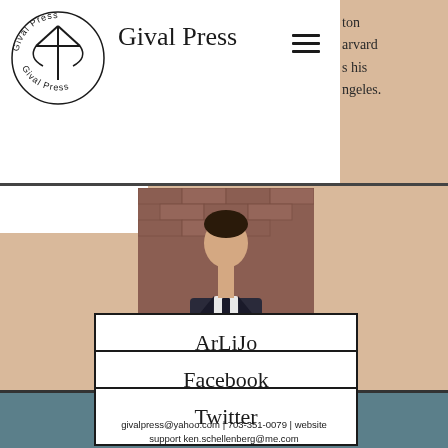Gival Press
yton
arvard
s his
ngeles.
[Figure (logo): Gival Press circular logo with bird/arrow motif and text 'Gival Press' around a circle]
[Figure (photo): Author photo: young man in dark suit with arms crossed, standing against a brick wall]
ArLiJo
Facebook
Twitter
givalpress@yahoo.com | 703-351-0079 | website support ken.schellenberg@me.com